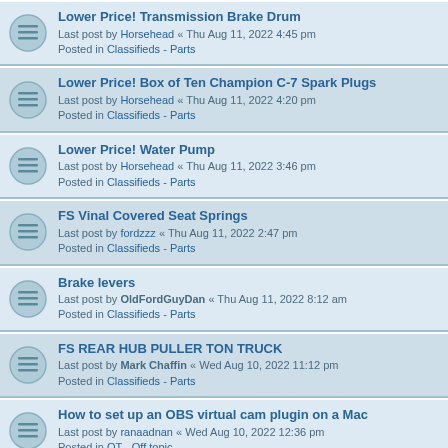Lower Price! Transmission Brake Drum
Last post by Horsehead « Thu Aug 11, 2022 4:45 pm
Posted in Classifieds - Parts
Lower Price! Box of Ten Champion C-7 Spark Plugs
Last post by Horsehead « Thu Aug 11, 2022 4:20 pm
Posted in Classifieds - Parts
Lower Price! Water Pump
Last post by Horsehead « Thu Aug 11, 2022 3:46 pm
Posted in Classifieds - Parts
FS Vinal Covered Seat Springs
Last post by fordzzz « Thu Aug 11, 2022 2:47 pm
Posted in Classifieds - Parts
Brake levers
Last post by OldFordGuyDan « Thu Aug 11, 2022 8:12 am
Posted in Classifieds - Parts
FS REAR HUB PULLER TON TRUCK
Last post by Mark Chaffin « Wed Aug 10, 2022 11:12 pm
Posted in Classifieds - Parts
How to set up an OBS virtual cam plugin on a Mac
Last post by ranaadnan « Wed Aug 10, 2022 12:36 pm
Posted in OT - Off topic
For Sale : Exhaust Whistle, $90.00 Plus Shipping
Last post by RichardW « Wed Aug 10, 2022 12:01 pm
Posted in Classifieds - Parts
For Sale : Exhaust Whistle, $70.00 Plus Shipping
Last post by RichardW « Wed Aug 10, 2022 12:01 pm
Posted in Classifieds - Parts